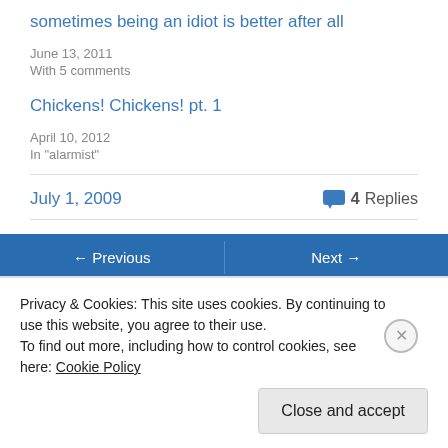sometimes being an idiot is better after all
June 13, 2011
With 5 comments
Chickens! Chickens! pt. 1
April 10, 2012
In "alarmist"
July 1, 2009   4 Replies
Privacy & Cookies: This site uses cookies. By continuing to use this website, you agree to their use.
To find out more, including how to control cookies, see here: Cookie Policy
Close and accept